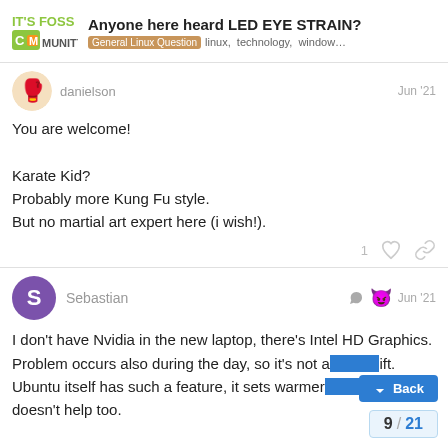Anyone here heard LED EYE STRAIN? | General Linux Question | linux, technology, window...
danielson
Jun '21

You are welcome!

Karate Kid?
Probably more Kung Fu style.
But no martial art expert here (i wish!).
Sebastian
Jun '21

I don't have Nvidia in the new laptop, there's Intel HD Graphics. Problem occurs also during the day, so it's not a night shift. Ubuntu itself has such a feature, it sets warmer light, but it doesn't help too.
9 / 21